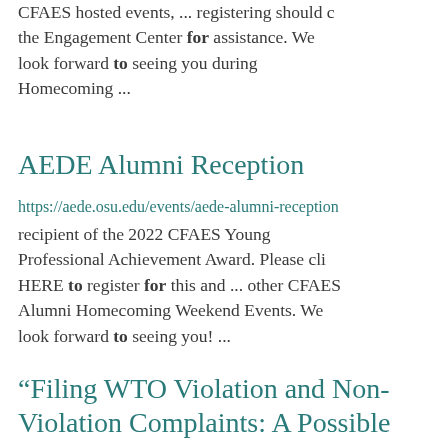CFAES hosted events, ... registering should contact the Engagement Center for assistance. We look forward to seeing you during Homecoming ...
AEDE Alumni Reception
https://aede.osu.edu/events/aede-alumni-reception
recipient of the 2022 CFAES Young Professional Achievement Award. Please click HERE to register for this and ... other CFAES Alumni Homecoming Weekend Events. We look forward to seeing you! ...
“Filing WTO Violation and Non-Violation Complaints: A Possible...